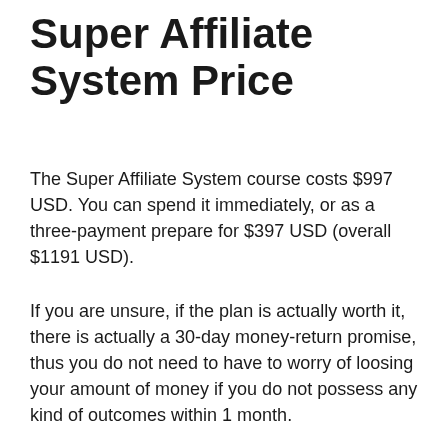Super Affiliate System Price
The Super Affiliate System course costs $997 USD. You can spend it immediately, or as a three-payment prepare for $397 USD (overall $1191 USD).
If you are unsure, if the plan is actually worth it, there is actually a 30-day money-return promise, thus you do not need to have to worry of loosing your amount of money if you do not possess any kind of outcomes within 1 month.